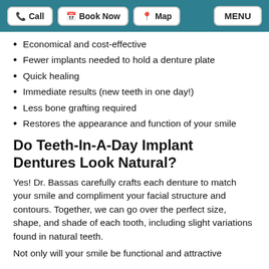Call | Book Now | Map | MENU
Economical and cost-effective
Fewer implants needed to hold a denture plate
Quick healing
Immediate results (new teeth in one day!)
Less bone grafting required
Restores the appearance and function of your smile
Do Teeth-In-A-Day Implant Dentures Look Natural?
Yes! Dr. Bassas carefully crafts each denture to match your smile and compliment your facial structure and contours. Together, we can go over the perfect size, shape, and shade of each tooth, including slight variations found in natural teeth.
Not only will your smile be functional and attractive